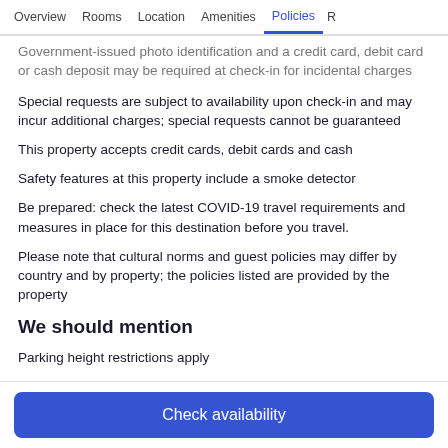Overview  Rooms  Location  Amenities  Policies
Government-issued photo identification and a credit card, debit card or cash deposit may be required at check-in for incidental charges
Special requests are subject to availability upon check-in and may incur additional charges; special requests cannot be guaranteed
This property accepts credit cards, debit cards and cash
Safety features at this property include a smoke detector
Be prepared: check the latest COVID-19 travel requirements and measures in place for this destination before you travel.
Please note that cultural norms and guest policies may differ by country and by property; the policies listed are provided by the property
We should mention
Parking height restrictions apply
Check availability